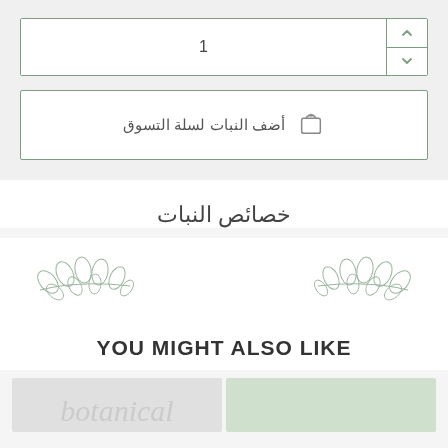1
أضف النبات لسلة التسوق
خصائص النبات
[Figure (illustration): Decorative botanical leaf/branch divider illustration in green outline style]
YOU MIGHT ALSO LIKE
[Figure (photo): Bottom preview of product images cropped at page edge]